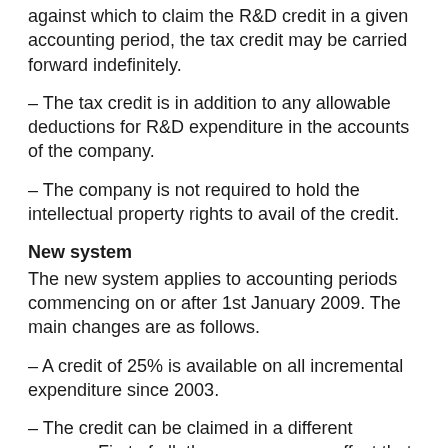against which to claim the R&D credit in a given accounting period, the tax credit may be carried forward indefinitely.
– The tax credit is in addition to any allowable deductions for R&D expenditure in the accounts of the company.
– The company is not required to hold the intellectual property rights to avail of the credit.
New system
The new system applies to accounting periods commencing on or after 1st January 2009. The main changes are as follows.
– A credit of 25% is available on all incremental expenditure since 2003.
– The credit can be claimed in a different manner. First of all, the company may offset that unused portion of the credit against the corporation tax of the preceding accounting period.